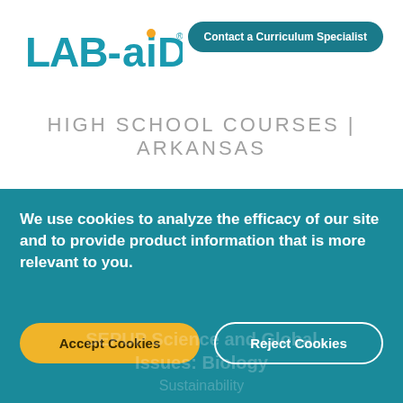[Figure (logo): Lab-Aids logo in teal/blue with orange dot on the 'i']
Contact a Curriculum Specialist
HIGH SCHOOL COURSES | ARKANSAS
We use cookies to analyze the efficacy of our site and to provide product information that is more relevant to you.
Accept Cookies
Reject Cookies
SEPUP Science and Global Issues: Biology
Sustainability